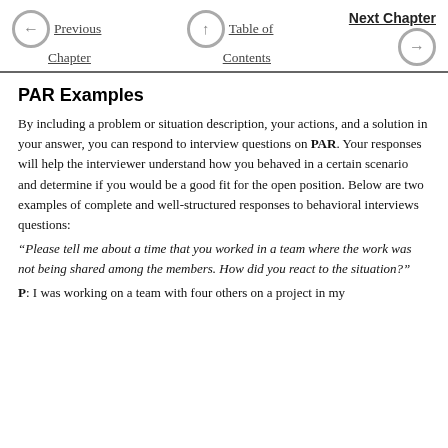Previous Chapter | Table of Contents | Next Chapter
PAR Examples
By including a problem or situation description, your actions, and a solution in your answer, you can respond to interview questions on PAR. Your responses will help the interviewer understand how you behaved in a certain scenario and determine if you would be a good fit for the open position. Below are two examples of complete and well-structured responses to behavioral interviews questions:
“Please tell me about a time that you worked in a team where the work was not being shared among the members. How did you react to the situation?”
P: I was working on a team with four others on a project in my